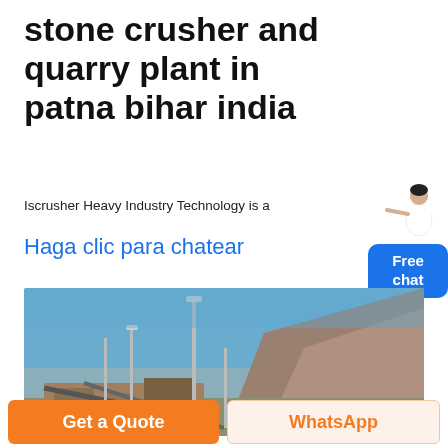stone crusher and quarry plant in patna bihar india
Iscrusher Heavy Industry Technology is a
Haga clic para chatear
[Figure (photo): Outdoor stone crusher and quarry plant machinery with industrial poles and rocky hillside in the background under a clear blue sky.]
Get a Quote
WhatsApp